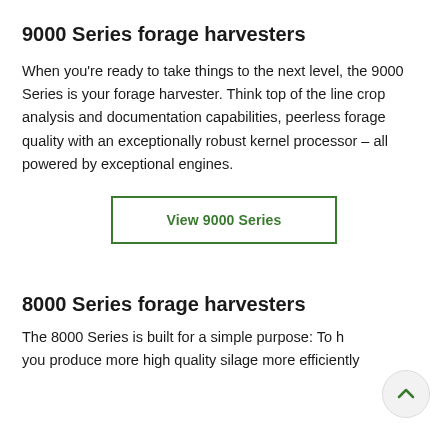9000 Series forage harvesters
When you’re ready to take things to the next level, the 9000 Series is your forage harvester. Think top of the line crop analysis and documentation capabilities, peerless forage quality with an exceptionally robust kernel processor – all powered by exceptional engines.
View 9000 Series
8000 Series forage harvesters
The 8000 Series is built for a simple purpose: To help you produce more high quality silage more efficiently